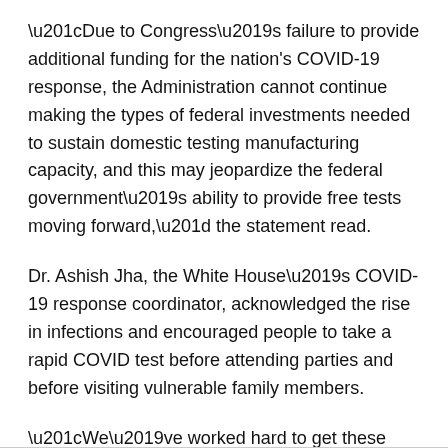“Due to Congress’s failure to provide additional funding for the nation's COVID-19 response, the Administration cannot continue making the types of federal investments needed to sustain domestic testing manufacturing capacity, and this may jeopardize the federal government’s ability to provide free tests moving forward,” the statement read.
Dr. Ashish Jha, the White House’s COVID-19 response coordinator, acknowledged the rise in infections and encouraged people to take a rapid COVID test before attending parties and before visiting vulnerable family members.
“We’ve worked hard to get these tests and with cases rising, it’s a good time to get more out to Americans,” he tweeted Tuesday.